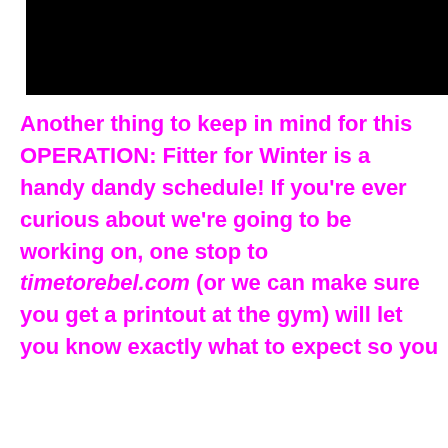[Figure (photo): Black rectangular image/banner at the top of the page]
Another thing to keep in mind for this OPERATION: Fitter for Winter is a handy dandy schedule! If you're ever curious about we're going to be working on, one stop to timetorebel.com (or we can make sure you get a printout at the gym) will let you know exactly what to expect so you